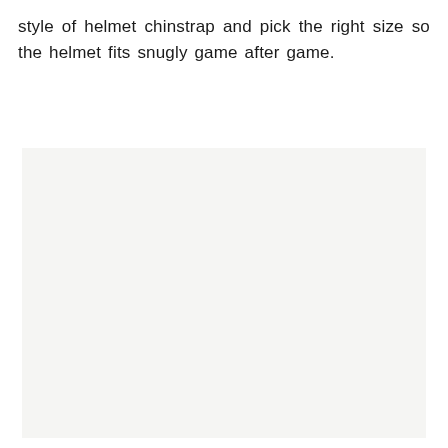style of helmet chinstrap and pick the right size so the helmet fits snugly game after game.
[Figure (photo): A large light gray/off-white rectangular image placeholder occupying the lower three-quarters of the page.]